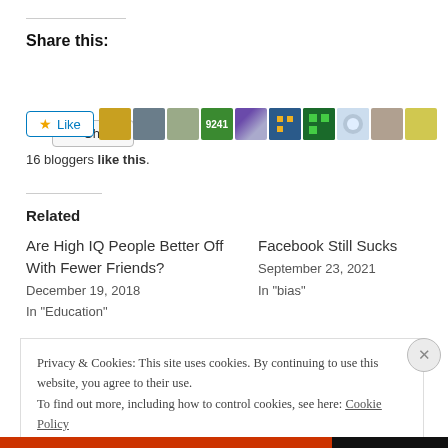Share this:
Share (button)
Like  [avatars]  16 bloggers like this.
Related
Are High IQ People Better Off With Fewer Friends?
December 19, 2018
In "Education"
Facebook Still Sucks
September 23, 2021
In "bias"
Privacy & Cookies: This site uses cookies. By continuing to use this website, you agree to their use.
To find out more, including how to control cookies, see here: Cookie Policy

Close and accept